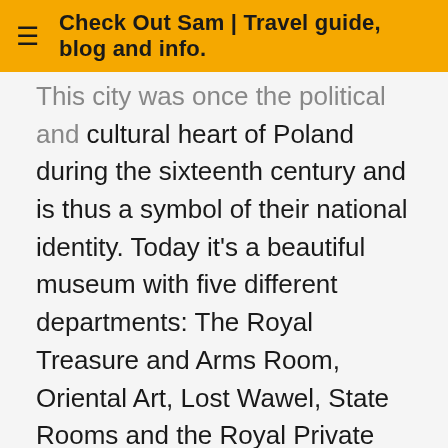≡  Check Out Sam | Travel guide, blog and info.
This city was once the political and cultural heart of Poland during the sixteenth century and is thus a symbol of their national identity. Today it's a beautiful museum with five different departments: The Royal Treasure and Arms Room, Oriental Art, Lost Wawel, State Rooms and the Royal Private Departments. Of these five, the last two are the most impressive. You pay a separate ticket for each department or one ticket for all of the different parts. Such a ticket costs €28 and includes a